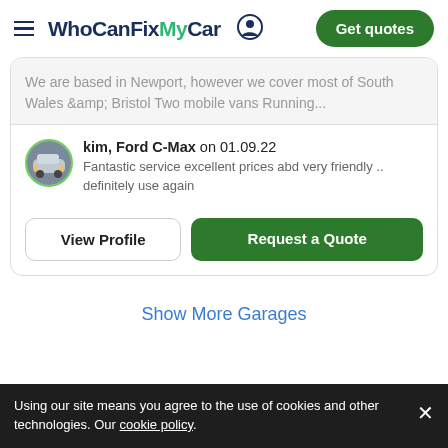WhoCanFixMyCar — Get quotes
We are based in Newport, however we cover most of South Wales &amp; Bristol Two mobile vans Running...
kim, Ford C-Max on 01.09.22
Fantastic service excellent prices abd very friendly .. definitely use again
View Profile
Request a Quote
Show More Garages
Using our site means you agree to the use of cookies and other technologies. Our cookie policy.